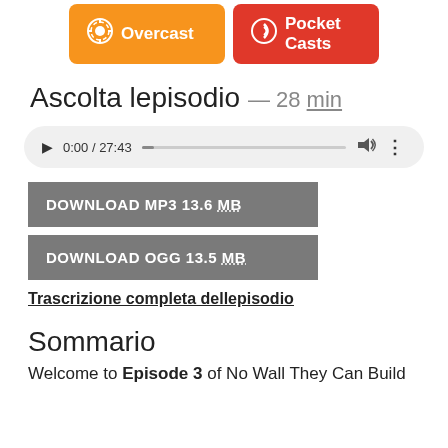[Figure (other): Two podcast app buttons: Overcast (orange) and Pocket Casts (red)]
Ascolta lepisodio — 28 min
[Figure (other): Audio player showing 0:00 / 27:43 with play button, progress bar, volume and more icons]
DOWNLOAD MP3 13.6 MB
DOWNLOAD OGG 13.5 MB
Trascrizione completa dellepisodio
Sommario
Welcome to Episode 3 of No Wall They Can Build